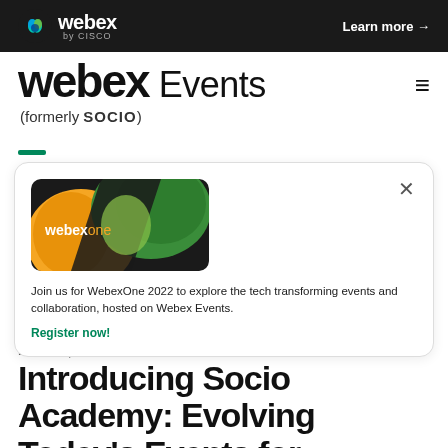webex by CISCO | Learn more →
webex Events (formerly SOCIO)
[Figure (screenshot): WebexOne promotional banner with yellow, green, and black design with 'webexone' text]
Join us for WebexOne 2022 to explore the tech transforming events and collaboration, hosted on Webex Events.
Register now!
NEWS | 4 Min Read
Introducing Socio Academy: Evolving Today's Events for